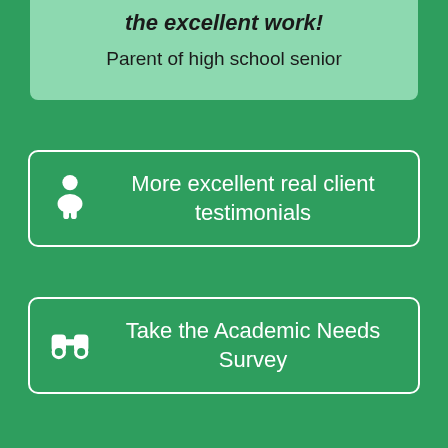the excellent work!
Parent of high school senior
More excellent real client testimonials
Take the Academic Needs Survey